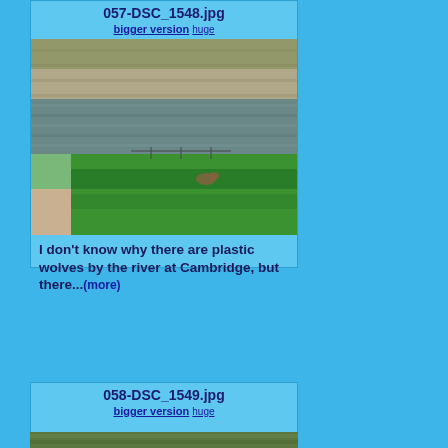057-DSC_1548.jpg
bigger version huge
[Figure (photo): Photo of a river scene at Cambridge with green grass banks and stone walls]
I don't know why there are plastic wolves by the river at Cambridge, but there...(more)
058-DSC_1549.jpg
bigger version huge
[Figure (photo): Photo of a garden or park scene, partially visible at bottom of page]